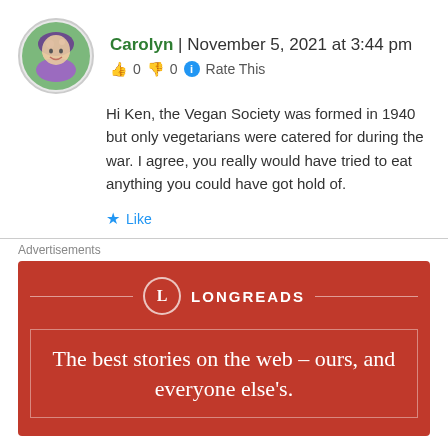Carolyn | November 5, 2021 at 3:44 pm
👍 0 👎 0 ℹ Rate This
Hi Ken, the Vegan Society was formed in 1940 but only vegetarians were catered for during the war. I agree, you really would have tried to eat anything you could have got hold of.
★ Like
Advertisements
[Figure (infographic): Longreads advertisement with dark red background, circular L logo, horizontal decorative lines, inner bordered box containing tagline: The best stories on the web – ours, and everyone else's.]